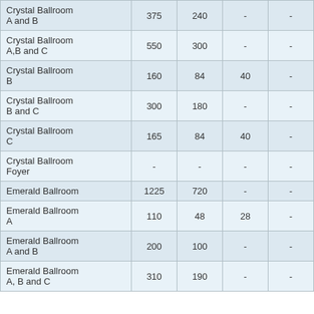| Room | Col1 | Col2 | Col3 | Col4 | Col5 |
| --- | --- | --- | --- | --- | --- |
| Crystal Ballroom A and B | 375 | 240 | - | - | 320 |
| Crystal Ballroom A,B and C | 550 | 300 | - | - | 400 |
| Crystal Ballroom B | 160 | 84 | 40 | - | 110 |
| Crystal Ballroom B and C | 300 | 180 | - | - | 300 |
| Crystal Ballroom C | 165 | 84 | 40 | - | 110 |
| Crystal Ballroom Foyer | - | - | - | - | - |
| Emerald Ballroom | 1225 | 720 | - | - | 840 |
| Emerald Ballroom A | 110 | 48 | 28 | - | 80 |
| Emerald Ballroom A and B | 200 | 100 | - | - | 150 |
| Emerald Ballroom A, B and C | 310 | 190 | - | - | 230 |